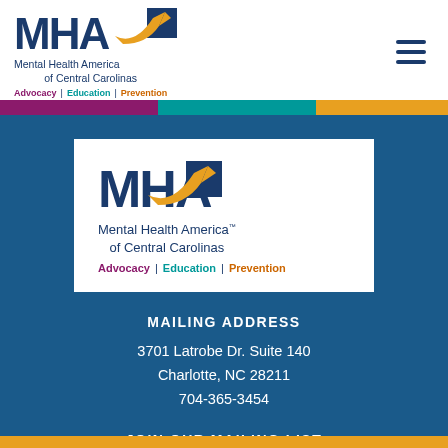[Figure (logo): Mental Health America of Central Carolinas logo in header — MHA letters in navy blue with orange arrow swoosh, text 'Mental Health America of Central Carolinas', tagline 'Advocacy | Education | Prevention']
[Figure (logo): Mental Health America of Central Carolinas logo on white card background — same logo as header]
MAILING ADDRESS
3701 Latrobe Dr. Suite 140
Charlotte, NC 28211
704-365-3454
JOIN OUR MAILING LIST